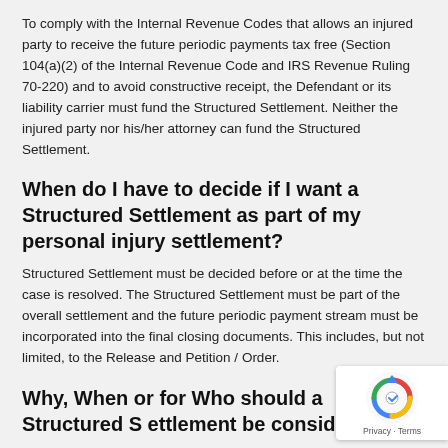To comply with the Internal Revenue Codes that allows an injured party to receive the future periodic payments tax free (Section 104(a)(2) of the Internal Revenue Code and IRS Revenue Ruling 70-220) and to avoid constructive receipt, the Defendant or its liability carrier must fund the Structured Settlement. Neither the injured party nor his/her attorney can fund the Structured Settlement.
When do I have to decide if I want a Structured Settlement as part of my personal injury settlement?
Structured Settlement must be decided before or at the time the case is resolved. The Structured Settlement must be part of the overall settlement and the future periodic payment stream must be incorporated into the final closing documents. This includes, but not limited, to the Release and Petition / Order.
Why, When or for Who should a Structured Settlement be considered?